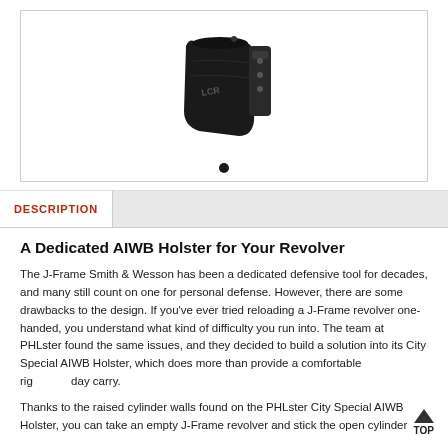[Figure (photo): Black Kydex AIWB holster with clip hardware, shown at an angle against white background. 'LCR' text visible on holster body. Navigation dot indicator below image.]
DESCRIPTION
A Dedicated AIWB Holster for Your Revolver
The J-Frame Smith & Wesson has been a dedicated defensive tool for decades, and many still count on one for personal defense. However, there are some drawbacks to the design. If you've ever tried reloading a J-Frame revolver one-handed, you understand what kind of difficulty you run into. The team at PHLster found the same issues, and they decided to build a solution into its City Special AIWB Holster, which does more than provide a comfortable rig for all day carry.
Thanks to the raised cylinder walls found on the PHLster City Special AIWB Holster, you can take an empty J-Frame revolver and stick the open cylinder